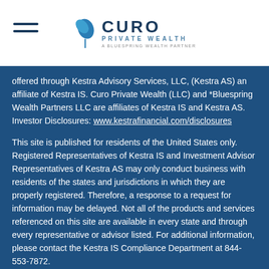[Figure (logo): Curo Private Wealth logo with leaf/plant icon and tagline 'A Bluespring Wealth Partner']
offered through Kestra Advisory Services, LLC, (Kestra AS) an affiliate of Kestra IS. Curo Private Wealth (LLC) and *Bluespring Wealth Partners LLC are affiliates of Kestra IS and Kestra AS. Investor Disclosures: www.kestrafinancial.com/disclosures
This site is published for residents of the United States only. Registered Representatives of Kestra IS and Investment Advisor Representatives of Kestra AS may only conduct business with residents of the states and jurisdictions in which they are properly registered. Therefore, a response to a request for information may be delayed. Not all of the products and services referenced on this site are available in every state and through every representative or advisor listed. For additional information, please contact the Kestra IS Compliance Department at 844-553-7872.
*Bluespring Wealth Partners, LLC acquires and supports high quality investment adviser and wealth management companies throughout the United States.